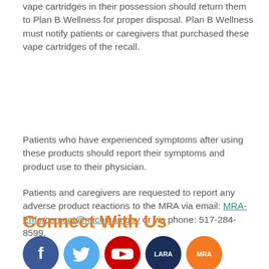vape cartridges in their possession should return them to Plan B Wellness for proper disposal. Plan B Wellness must notify patients or caregivers that purchased these vape cartridges of the recall.
Patients who have experienced symptoms after using these products should report their symptoms and product use to their physician.
Patients and caregivers are requested to report any adverse product reactions to the MRA via email: MRA-Enforcement@michigan.gov or via phone: 517-284-8599.
Connect With Us
[Figure (infographic): Five social media icon circles: Facebook (blue), Twitter (light blue), YouTube (red/white), LARA (dark blue with white text), MRA (orange with white text)]